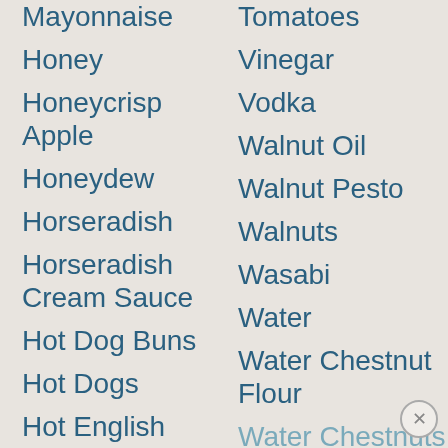Mayonnaise
Honey
Honeycrisp Apple
Honeydew
Horseradish
Horseradish Cream Sauce
Hot Dog Buns
Hot Dogs
Hot English Mustard
Hot Italian
Tomatoes
Vinegar
Vodka
Walnut Oil
Walnut Pesto
Walnuts
Wasabi
Water
Water Chestnut Flour
Water Chestnuts
Watermelon